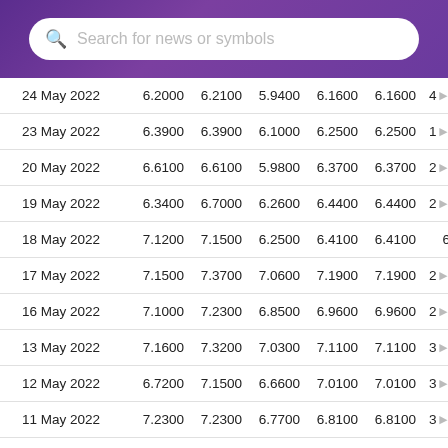[Figure (screenshot): Purple gradient header bar with a white search box containing a search icon and placeholder text 'Search for news or symbols']
| Date | Open | High | Low | Close | Adj Close | Volume |
| --- | --- | --- | --- | --- | --- | --- |
| 24 May 2022 | 6.2000 | 6.2100 | 5.9400 | 6.1600 | 6.1600 | 4… |
| 23 May 2022 | 6.3900 | 6.3900 | 6.1000 | 6.2500 | 6.2500 | 1… |
| 20 May 2022 | 6.6100 | 6.6100 | 5.9800 | 6.3700 | 6.3700 | 2… |
| 19 May 2022 | 6.3400 | 6.7000 | 6.2600 | 6.4400 | 6.4400 | 2… |
| 18 May 2022 | 7.1200 | 7.1500 | 6.2500 | 6.4100 | 6.4100 | 6 |
| 17 May 2022 | 7.1500 | 7.3700 | 7.0600 | 7.1900 | 7.1900 | 2… |
| 16 May 2022 | 7.1000 | 7.2300 | 6.8500 | 6.9600 | 6.9600 | 2… |
| 13 May 2022 | 7.1600 | 7.3200 | 7.0300 | 7.1100 | 7.1100 | 3… |
| 12 May 2022 | 6.7200 | 7.1500 | 6.6600 | 7.0100 | 7.0100 | 3… |
| 11 May 2022 | 7.2300 | 7.2300 | 6.7700 | 6.8100 | 6.8100 | 3… |
| 10 May 2022 | 7.2800 | 7.4000 | 6.9500 | 7.1800 | 7.1800 | 3… |